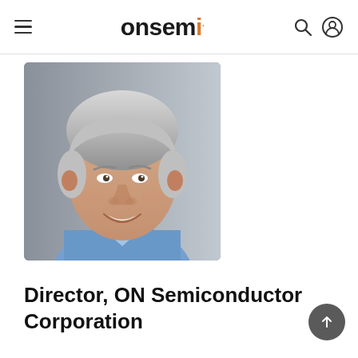onsemi (logo) — navigation bar with hamburger menu, search icon, and user icon
[Figure (photo): Professional headshot of a middle-aged man with gray hair, smiling, wearing a light blue collared shirt, gray background]
Director, ON Semiconductor Corporation